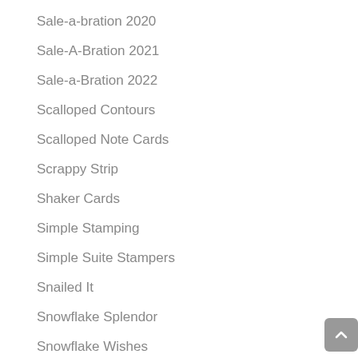Sale-a-bration 2020
Sale-A-Bration 2021
Sale-a-Bration 2022
Scalloped Contours
Scalloped Note Cards
Scrappy Strip
Shaker Cards
Simple Stamping
Simple Suite Stampers
Snailed It
Snowflake Splendor
Snowflake Wishes
So Many Snowflakes Dies
Soft Pastels Coloring